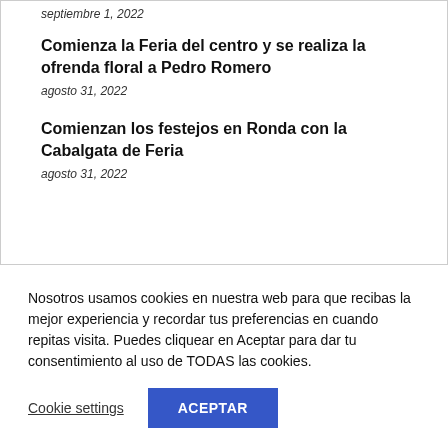septiembre 1, 2022
Comienza la Feria del centro y se realiza la ofrenda floral a Pedro Romero
agosto 31, 2022
Comienzan los festejos en Ronda con la Cabalgata de Feria
agosto 31, 2022
Nosotros usamos cookies en nuestra web para que recibas la mejor experiencia y recordar tus preferencias en cuando repitas visita. Puedes cliquear en Aceptar para dar tu consentimiento al uso de TODAS las cookies.
Cookie settings
ACEPTAR